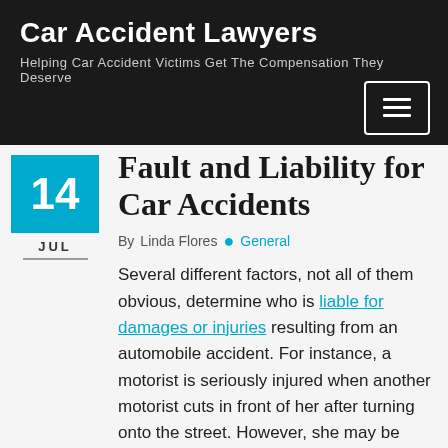Car Accident Lawyers
Helping Car Accident Victims Get The Compensation They Deserve
Fault and Liability for Car Accidents
By  Linda Flores  •  General
Several different factors, not all of them obvious, determine who is liable for damages or injuries resulting from an automobile accident. For instance, a motorist is seriously injured when another motorist cuts in front of her after turning onto the street. However, she may be found liable if she was speeding or made an illegal lane change prior to the collision. The decision of who pays for